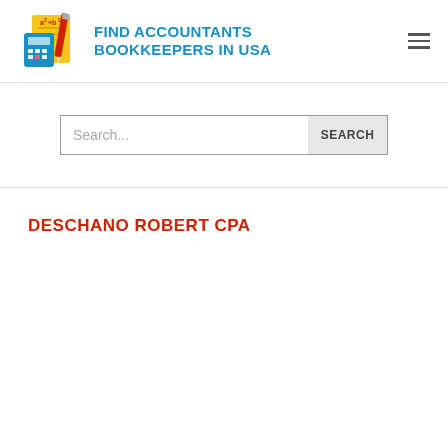FIND ACCOUNTANTS BOOKKEEPERS IN USA
Search...
DESCHANO ROBERT CPA